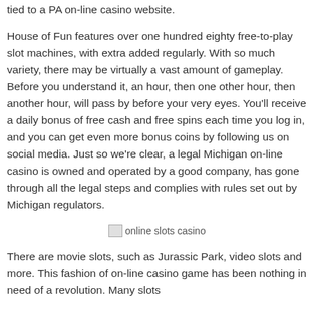tied to a PA on-line casino website.
House of Fun features over one hundred eighty free-to-play slot machines, with extra added regularly. With so much variety, there may be virtually a vast amount of gameplay. Before you understand it, an hour, then one other hour, then another hour, will pass by before your very eyes. You’ll receive a daily bonus of free cash and free spins each time you log in, and you can get even more bonus coins by following us on social media. Just so we’re clear, a legal Michigan on-line casino is owned and operated by a good company, has gone through all the legal steps and complies with rules set out by Michigan regulators.
[Figure (photo): Broken image placeholder with alt text 'online slots casino']
There are movie slots, such as Jurassic Park, video slots and more. This fashion of on-line casino game has been nothing in need of a revolution. Many slots additionally showcase start the bonus rounds